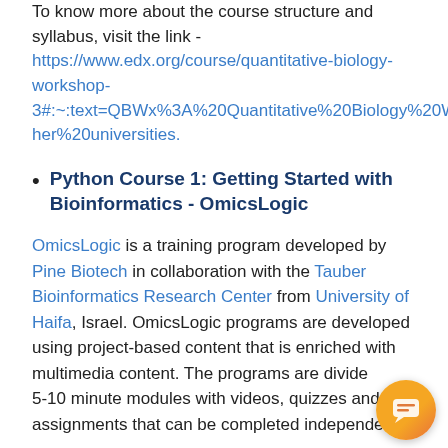To know more about the course structure and syllabus, visit the link - https://www.edx.org/course/quantitative-biology-workshop-3#:~:text=QBWx%3A%20Quantitative%20Biology%20Workshop%20is,for%20students%20from%20other%20universities.
Python Course 1: Getting Started with Bioinformatics - OmicsLogic
OmicsLogic is a training program developed by Pine Biotech in collaboration with the Tauber Bioinformatics Research Center from University of Haifa, Israel. OmicsLogic programs are developed using project-based content that is enriched with multimedia content. The programs are divided into 5-10 minute modules with videos, quizzes and assignments that can be completed independently.